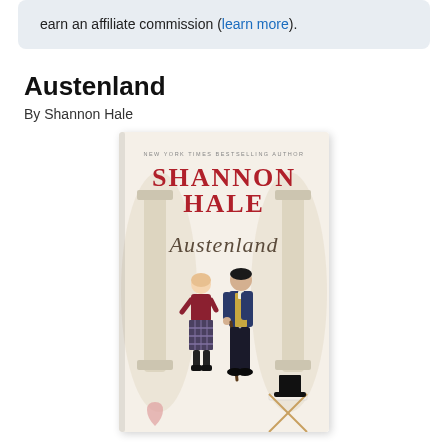earn an affiliate commission (learn more).
Austenland
By Shannon Hale
[Figure (illustration): Book cover of Austenland by Shannon Hale. Red serif text reads 'SHANNON HALE' at top with 'NEW YORK TIMES BESTSELLING AUTHOR' above it. Cursive script reads 'Austenland'. Illustrated figures of a woman in a plaid skirt and a man in a blue jacket stand back to back between ornate columns. A top hat sits on a chair in the lower right corner.]